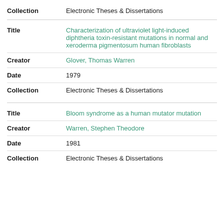| Field | Value |
| --- | --- |
| Collection | Electronic Theses & Dissertations |
| Title | Characterization of ultraviolet light-induced diphtheria toxin-resistant mutations in normal and xeroderma pigmentosum human fibroblasts |
| Creator | Glover, Thomas Warren |
| Date | 1979 |
| Collection | Electronic Theses & Dissertations |
| Title | Bloom syndrome as a human mutator mutation |
| Creator | Warren, Stephen Theodore |
| Date | 1981 |
| Collection | Electronic Theses & Dissertations |